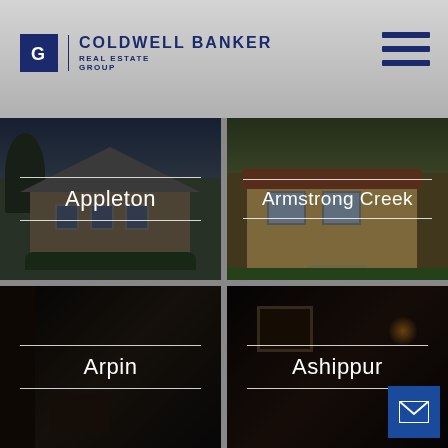[Figure (screenshot): Coldwell Banker Real Estate Group website header with logo on left and hamburger menu icon on right, on a light gray gradient background]
[Figure (photo): Property listing card for Appleton neighborhood showing a brick colonial house with dark overlay and white text label]
[Figure (photo): Property listing card for Armstrong Creek neighborhood showing a stucco Mediterranean-style house with dark overlay and white text label]
[Figure (photo): Property listing card for Arpin neighborhood showing a dark interior room with dark overlay and white text label]
[Figure (photo): Property listing card for Ashippur neighborhood showing a dim interior room with dark overlay, white text label, and blue email button overlay]